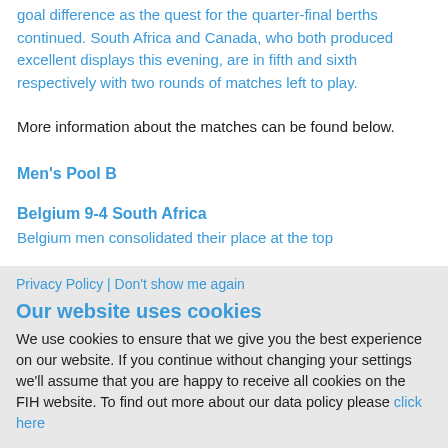goal difference as the quest for the quarter-final berths continued. South Africa and Canada, who both produced excellent displays this evening, are in fifth and sixth respectively with two rounds of matches left to play.
More information about the matches can be found below.
Men's Pool B
Belgium 9-4 South Africa
Belgium men consolidated their place at the top
Privacy Policy | Don't show me again
Our website uses cookies
We use cookies to ensure that we give you the best experience on our website. If you continue without changing your settings we'll assume that you are happy to receive all cookies on the FIH website. To find out more about our data policy please click here